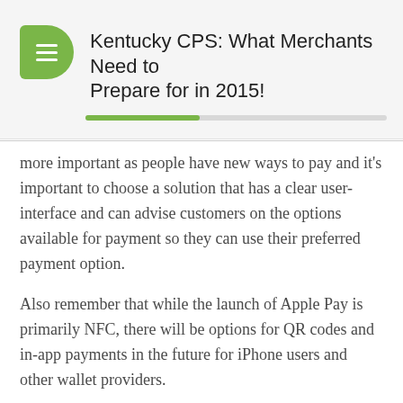Kentucky CPS: What Merchants Need to Prepare for in 2015!
more important as people have new ways to pay and it's important to choose a solution that has a clear user-interface and can advise customers on the options available for payment so they can use their preferred payment option.
Also remember that while the launch of Apple Pay is primarily NFC, there will be options for QR codes and in-app payments in the future for iPhone users and other wallet providers.